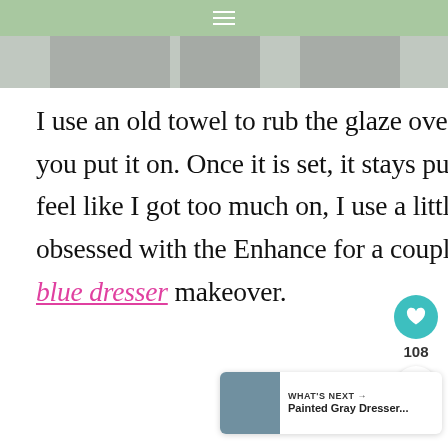≡
[Figure (photo): Top portion of a photo visible as a strip at the top of the page]
I use an old towel to rub the glaze over the paint. It is very forgiving right when you put it on. Once it is set, it stays put, but as I am rubbing it onto a surface, if I feel like I got too much on, I use a little water and it comes off. I have been obsessed with the Enhance for a couple my latest projects. See what it did blue dresser makeover.